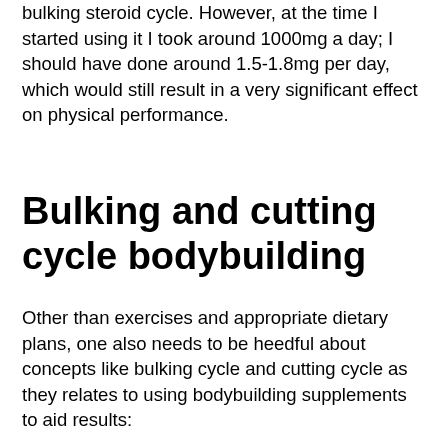bulking steroid cycle. However, at the time I started using it I took around 1000mg a day; I should have done around 1.5-1.8mg per day, which would still result in a very significant effect on physical performance.
Bulking and cutting cycle bodybuilding
Other than exercises and appropriate dietary plans, one also needs to be heedful about concepts like bulking cycle and cutting cycle as they relates to using bodybuilding supplements to aid results:
I would recommend that you never, ever use bodybuilding supplements in a fashion that can potentially harm you or your body, bodybuilding bulking nutrition plan. This is due to the fact that they can cause the following issues: